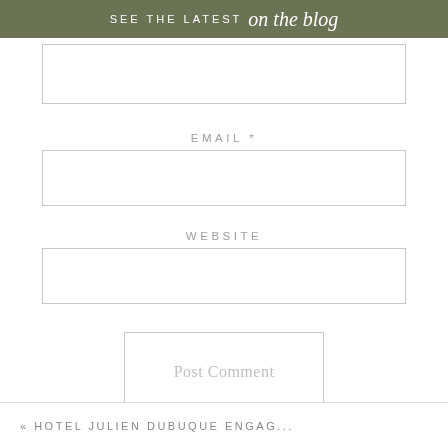SEE THE LATEST on the blog
[Figure (other): Empty text input box at top]
EMAIL *
[Figure (other): Email input field box]
WEBSITE
[Figure (other): Website input field box]
Post Comment
« HOTEL JULIEN DUBUQUE ENGAG...